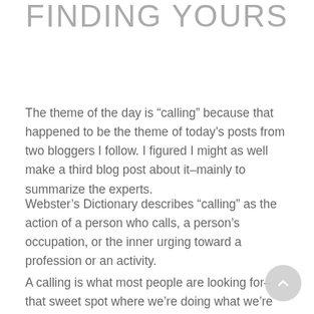FINDING YOURS
The theme of the day is “calling” because that happened to be the theme of today’s posts from two bloggers I follow. I figured I might as well make a third blog post about it–mainly to summarize the experts.
Webster’s Dictionary describes “calling” as the action of a person who calls, a person’s occupation, or the inner urging toward a profession or an activity.
A calling is what most people are looking for–that sweet spot where we’re doing what we’re supposed to be doing or that thing...